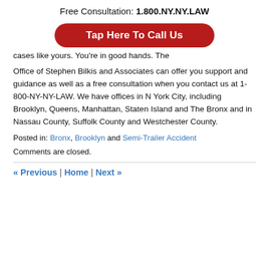Free Consultation: 1.800.NY.NY.LAW
[Figure (other): Red rounded rectangle button with white text: Tap Here To Call Us]
cases like yours. You're in good hands. The Office of Stephen Bilkis and Associates can offer you support and guidance as well as a free consultation when you contact us at 1-800-NY-NY-LAW. We have offices in N York City, including Brooklyn, Queens, Manhattan, Staten Island and The Bronx and in Nassau County, Suffolk County and Westchester County.
Posted in: Bronx, Brooklyn and Semi-Trailer Accident
Comments are closed.
« Previous | Home | Next »